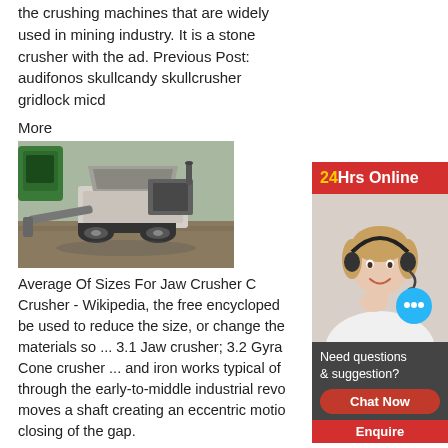the crushing machines that are widely used in mining industry. It is a stone crusher with the ad. Previous Post: audifonos skullcandy skullcrusher gridlock micd
More
[Figure (photo): A jaw crusher / stone crushing machine photographed outdoors on dirt ground, viewed from the side, showing mechanical components and tracks.]
Average Of Sizes For Jaw Crusher C Crusher - Wikipedia, the free encycloped be used to reduce the size, or change the materials so ... 3.1 Jaw crusher; 3.2 Gyra Cone crusher ... and iron works typical of through the early-to-middle industrial revo moves a shaft creating an eccentric motio closing of the gap.
More
[Figure (screenshot): 24Hrs Online chat widget sidebar with a customer service representative photo, 'Need questions & suggestion?' text, and a 'Chat Now' red button.]